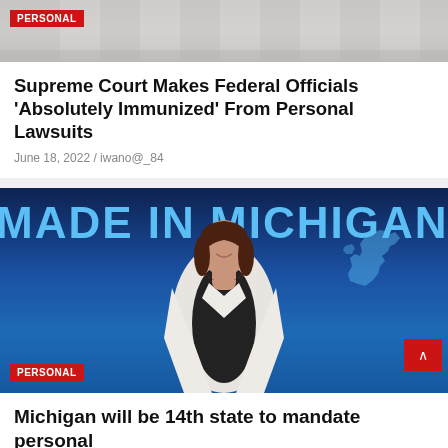[Figure (photo): Partial image of a building (likely court building), with a red PERSONAL badge overlay at top left]
Supreme Court Makes Federal Officials 'Absolutely Immunized' From Personal Lawsuits
June 18, 2022 / iwano@_84
[Figure (photo): Woman in white blazer smiling in front of a dark blue 'MADE IN MICHIGAN' banner with Michigan state silhouette. Red PERSONAL badge at bottom left.]
Michigan will be 14th state to mandate personal